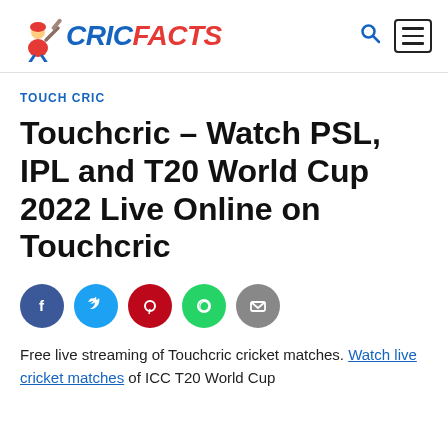CRICFACTS
TOUCH CRIC
Touchcric – Watch PSL, IPL and T20 World Cup 2022 Live Online on Touchcric
[Figure (infographic): Social share buttons: Facebook, Twitter, Pinterest, WhatsApp, Email]
Free live streaming of Touchcric cricket matches. Watch live cricket matches of ICC T20 World Cup